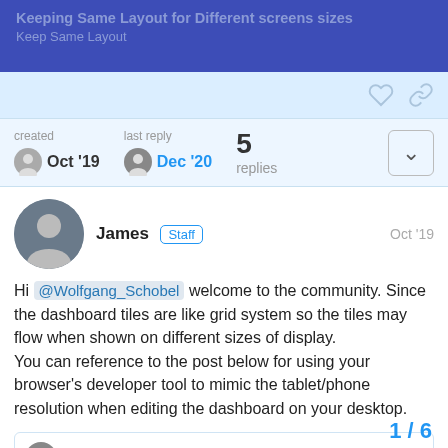Keeping Same Layout for Different screens sizes
Keep Same Layout
created Oct '19   last reply Dec '20   5 replies
James Staff  Oct '19
Hi @Wolfgang_Schobel welcome to the community. Since the dashboard tiles are like grid system so the tiles may flow when shown on different sizes of display.
You can reference to the post below for using your browser's developer tool to mimic the tablet/phone resolution when editing the dashboard on your desktop.
Design dashboard to fixed resolutio...
SharpTools.io (web)
1 / 6